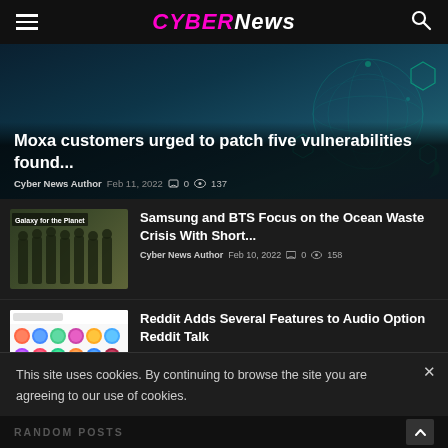CYBER News
[Figure (photo): Featured article banner with dark teal/hexagon cyber-themed background. Article: Moxa customers urged to patch five vulnerabilities found...]
Moxa customers urged to patch five vulnerabilities found...
Cyber News Author  Feb 11, 2022  0  137
[Figure (photo): Thumbnail showing BTS group members standing in front of a backdrop, with Galaxy for the Planet text overlay]
Samsung and BTS Focus on the Ocean Waste Crisis With Short...
Cyber News Author  Feb 10, 2022  0  158
[Figure (screenshot): Thumbnail showing Reddit Talk audio interface with colorful avatar icons]
Reddit Adds Several Features to Audio Option Reddit Talk
Cyber News Author  Feb 10, 2022  0  149
This site uses cookies. By continuing to browse the site you are agreeing to our use of cookies.
RANDOM POSTS